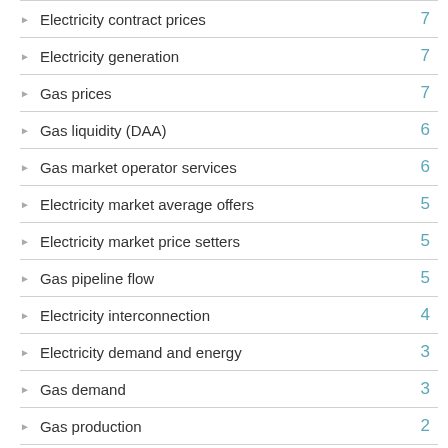Electricity contract prices  7
Electricity generation  7
Gas prices  7
Gas liquidity (DAA)  6
Gas market operator services  6
Electricity market average offers  5
Electricity market price setters  5
Gas pipeline flow  5
Electricity interconnection  4
Electricity demand and energy  3
Gas demand  3
Gas production  2
Gas ancillary payments  1
Unaccounted for gas  1